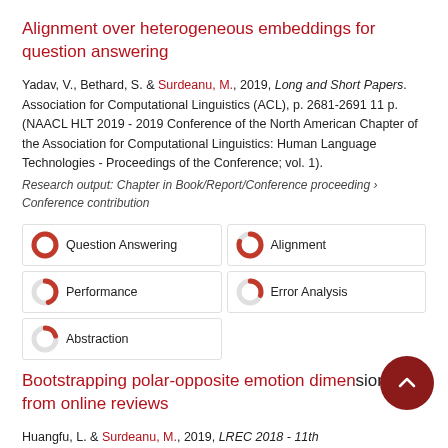Alignment over heterogeneous embeddings for question answering
Yadav, V., Bethard, S. & Surdeanu, M., 2019, Long and Short Papers. Association for Computational Linguistics (ACL), p. 2681-2691 11 p. (NAACL HLT 2019 - 2019 Conference of the North American Chapter of the Association for Computational Linguistics: Human Language Technologies - Proceedings of the Conference; vol. 1).
Research output: Chapter in Book/Report/Conference proceeding › Conference contribution
[Figure (infographic): Five keyword/topic badges in a grid: Question Answering (100%), Alignment (80%), Performance (45%), Error Analysis (30%), Abstraction (20%)]
Bootstrapping polar-opposite emotion dimensions from online reviews
Huangfu, L. & Surdeanu, M., 2019, LREC 2018 - 11th